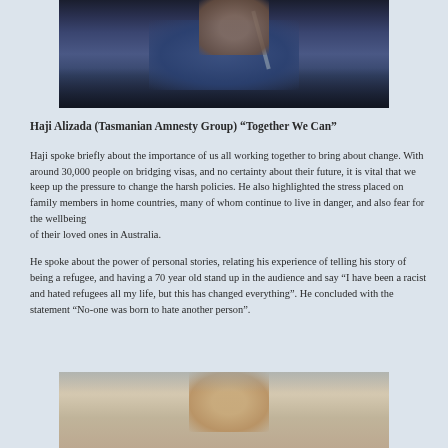[Figure (photo): Photo of Haji Alizada speaking at a microphone, wearing a dark blazer and blue patterned shirt]
Haji Alizada (Tasmanian Amnesty Group) “Together We Can”
Haji spoke briefly about the importance of us all working together to bring about change. With around 30,000 people on bridging visas, and no certainty about their future, it is vital that we keep up the pressure to change the harsh policies. He also highlighted the stress placed on family members in home countries, many of whom continue to live in danger, and also fear for the wellbeing of their loved ones in Australia.
He spoke about the power of personal stories, relating his experience of telling his story of being a refugee, and having a 70 year old stand up in the audience and say “I have been a racist and hated refugees all my life, but this has changed everything”. He concluded with the statement “No-one was born to hate another person”.
[Figure (photo): Partial photo of another speaker, cropped at bottom of page]